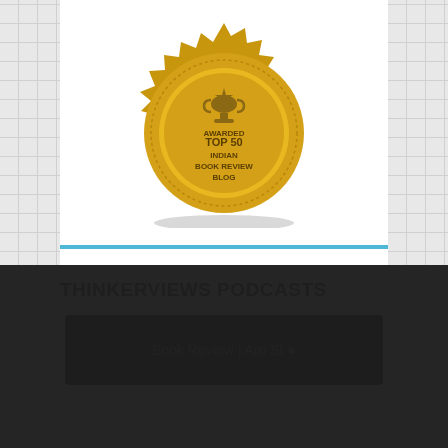[Figure (illustration): Gold badge/seal reading 'AWARDED TOP 50 INDIAN BOOK REVIEW BLOG' with trophy icon, displayed on white background with tile-patterned side margins]
THINKERVIEWS PODCASTS
[Figure (screenshot): Podcast player widget showing 'Book Review | Aru St' partially visible with dark overlay]
This website intends to use cookies to improve the site and your experience. By continuing to browse the site you are agreeing to accept our use of cookies.
❯ Privacy Preferences
✓  I Agree